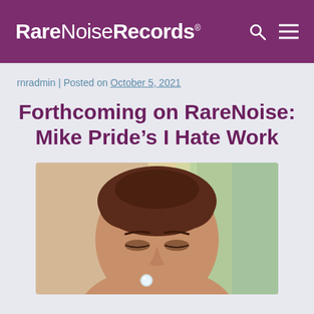RareNoiseRecords
rnradmin | Posted on October 5, 2021
Forthcoming on RareNoise: Mike Pride’s I Hate Work
[Figure (photo): Close-up photo of a person (Mike Pride) looking down slightly, with colorful pastel background stripes in green, yellow and teal. There is a small round white/blue object near the person's chin area.]